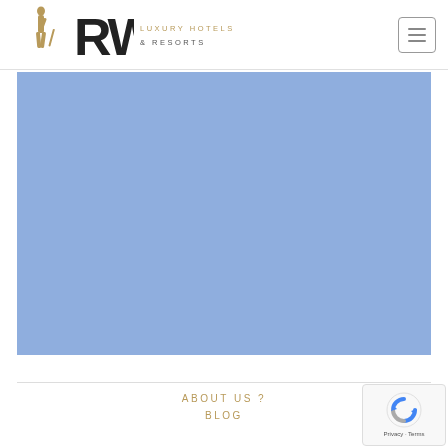RW Luxury Hotels & Resorts — navigation header with logo and hamburger menu
[Figure (photo): Large light blue placeholder image/hero banner area below the header]
ABOUT US ?
BLOG
[Figure (other): reCAPTCHA badge with circular arrow icon, Privacy and Terms links]